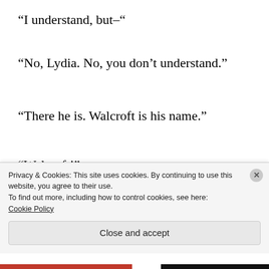“I understand, but–“
“No, Lydia. No, you don’t understand.”
“There he is. Walcroft is his name.”
“Walcroft!”
Walcroft turned, saw the mage walking toward him, and was caught somewhere between fleeing and bolting from the room
Privacy & Cookies: This site uses cookies. By continuing to use this website, you agree to their use.
To find out more, including how to control cookies, see here:
Cookie Policy